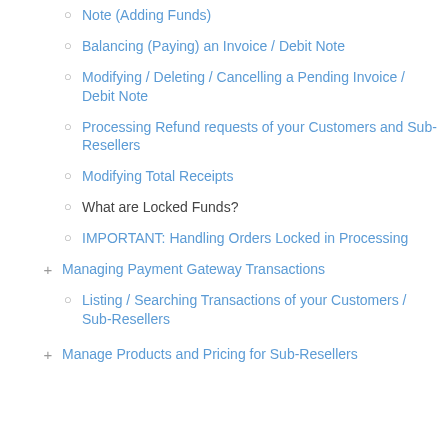Note (Adding Funds)
Balancing (Paying) an Invoice / Debit Note
Modifying / Deleting / Cancelling a Pending Invoice / Debit Note
Processing Refund requests of your Customers and Sub-Resellers
Modifying Total Receipts
What are Locked Funds?
IMPORTANT: Handling Orders Locked in Processing
Managing Payment Gateway Transactions
Listing / Searching Transactions of your Customers / Sub-Resellers
Manage Products and Pricing for Sub-Resellers